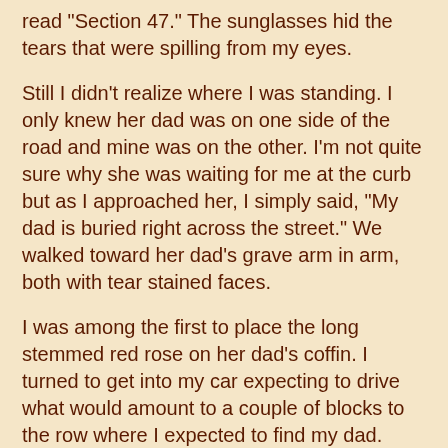read "Section 47." The sunglasses hid the tears that were spilling from my eyes.
Still I didn't realize where I was standing.  I only knew her dad was on one side of the road and mine was on the other.  I'm not quite sure why she was waiting for me at the curb but as I approached her, I simply said, "My dad is buried right across the street."  We walked toward her dad's grave arm in arm, both with tear stained faces.
I was among the first to place the long stemmed red rose on her dad's coffin.  I turned to get into my car expecting to drive what would amount to a couple of blocks to the row where I expected to find my dad.  Except, there would be no driving, there would be no rows..... my car was parked adjacent to the row where my dad is buried.  And my grandparents.
I don't know what the odds are..... but I know that it's less than a short city block from her dad's grave to mine.  And I didn't expect that.  It would take less than a minute to walk from one site to the other.  And the emotions bubbled up